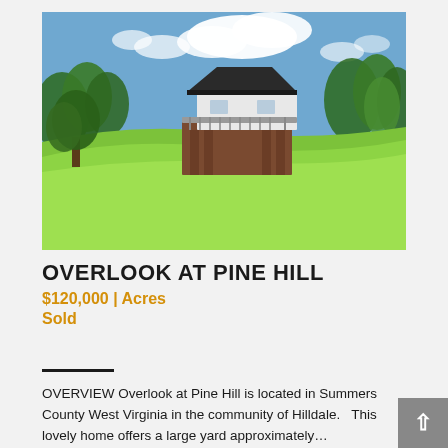[Figure (photo): Exterior photo of a house on a hillside with large green lawn, trees, and blue sky with clouds. The house has a deck/balcony and appears to be a two-story structure with brown/brick lower level and white siding upper level.]
OVERLOOK AT PINE HILL
$120,000 | Acres
Sold
OVERVIEW Overlook at Pine Hill is located in Summers County West Virginia in the community of Hilldale.   This lovely home offers a large yard approximately...